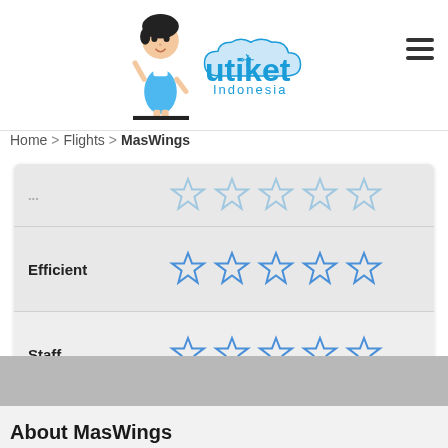[Figure (logo): Utiket Indonesia logo with mascot girl and blue text]
Home > Flights > MasWings
[Figure (infographic): Rating widget with rows for Efficient, Staff, Comfortable each showing 5 empty blue outline stars, and a Rate this button]
About MasWings